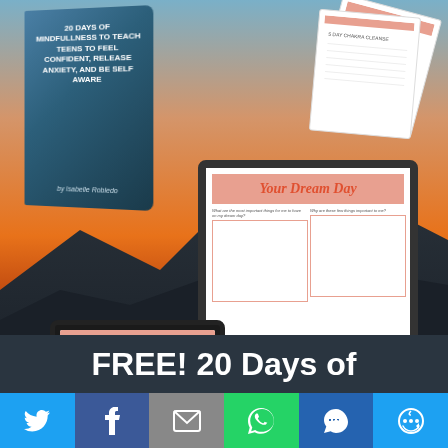[Figure (illustration): Promotional image showing a book '20 Days of Mindfulness to Teach Teens to Feel Confident, Release Anxiety, and Be Self Aware' by Isabelle Robledo, a tablet showing 'Self Examination' worksheet, a desktop monitor showing 'Your Dream Day' worksheet, and chakra reference cards, all against a sunset sky background.]
FREE! 20 Days of
[Figure (infographic): Social share bar with Twitter, Facebook, Email, WhatsApp, SMS, and More buttons]